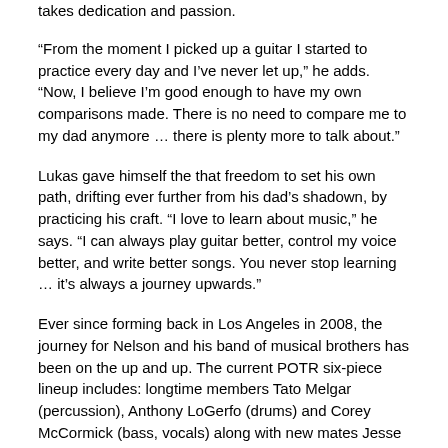takes dedication and passion.
“From the moment I picked up a guitar I started to practice every day and I’ve never let up,” he adds. “Now, I believe I’m good enough to have my own comparisons made. There is no need to compare me to my dad anymore … there is plenty more to talk about.”
Lukas gave himself the that freedom to set his own path, drifting ever further from his dad’s shadown, by practicing his craft. “I love to learn about music,” he says. “I can always play guitar better, control my voice better, and write better songs. You never stop learning … it’s always a journey upwards.”
Ever since forming back in Los Angeles in 2008, the journey for Nelson and his band of musical brothers has been on the up and up. The current POTR six-piece lineup includes: longtime members Tato Melgar (percussion), Anthony LoGerfo (drums) and Corey McCormick (bass, vocals) along with new mates Jesse Siebenberg (steel guitars, Farfisa organ, vocals) and Alberto Bof (piano, Wurlitzer, Hammond B3).
Here are just a few of the recent accolades for Nelson: a critically-